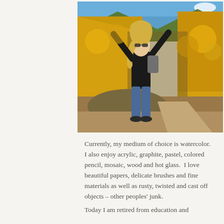[Figure (photo): A blonde woman in a black jacket and jeans sits on a rock with arms raised joyfully, surrounded by bright yellow autumn aspen trees and mountains in the background under a blue sky.]
Currently, my medium of choice is watercolor. I also enjoy acrylic, graphite, pastel, colored pencil, mosaic, wood and hot glass.  I love beautiful papers, delicate brushes and fine materials as well as rusty, twisted and cast off objects – other peoples' junk.
Today I am retired from education and